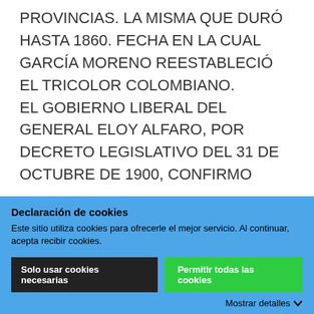PROVINCIAS. LA MISMA QUE DURÓ HASTA 1860. FECHA EN LA CUAL GARCÍA MORENO REESTABLECIÓ EL TRICOLOR COLOMBIANO.

EL GOBIERNO LIBERAL DEL GENERAL ELOY ALFARO, POR DECRETO LEGISLATIVO DEL 31 DE OCTUBRE DE 1900, CONFIRMO
Declaración de cookies
Este sitio utiliza cookies para ofrecerle el mejor servicio. Al continuar, acepta recibir cookies.
Solo usar cookies necesarias
Permitir todas las cookies
Mostrar detalles